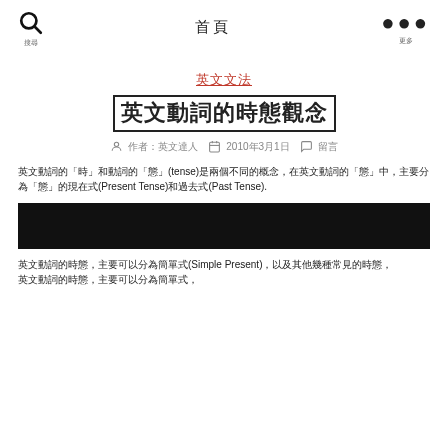搜尋  首頁  更多
英文文法
英文動詞的時態觀念
作者：英文達人  日期：2010年3月1日  留言：留言
英文動詞的「時」和動詞的「態」(tense)是兩個不同的概念，在英文動詞的「態」中，主要分為「態」的現在式(Present Tense)和過去式(Past Tense).
[Figure (other): Redacted/censored black block covering text]
英文動詞的時態，主要可以分為簡單式(Simple Present)，以及其他幾種常見的時態，